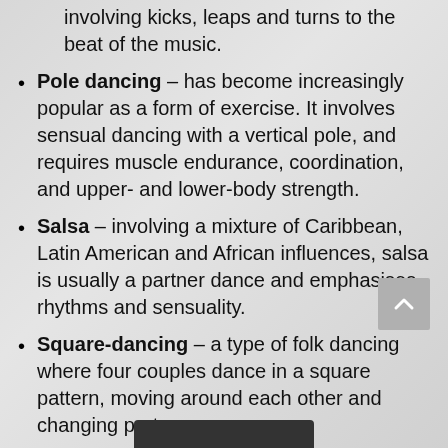involving kicks, leaps and turns to the beat of the music.
Pole dancing – has become increasingly popular as a form of exercise. It involves sensual dancing with a vertical pole, and requires muscle endurance, coordination, and upper- and lower-body strength.
Salsa – involving a mixture of Caribbean, Latin American and African influences, salsa is usually a partner dance and emphasises rhythms and sensuality.
Square-dancing – a type of folk dancing where four couples dance in a square pattern, moving around each other and changing partners.
Tap danci…es on timing